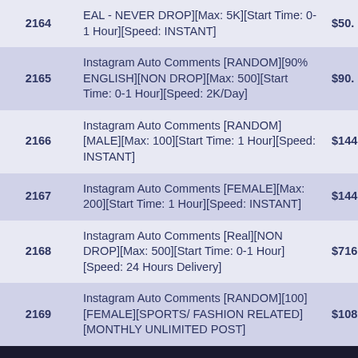| ID | Description | Price |
| --- | --- | --- |
| 2164 | EAL - NEVER DROP][Max: 5K][Start Time: 0-1 Hour][Speed: INSTANT] | $50. |
| 2165 | Instagram Auto Comments [RANDOM][90% ENGLISH][NON DROP][Max: 500][Start Time: 0-1 Hour][Speed: 2K/Day] | $90. |
| 2166 | Instagram Auto Comments [RANDOM][MALE][Max: 100][Start Time: 1 Hour][Speed: INSTANT] | $144 |
| 2167 | Instagram Auto Comments [FEMALE][Max: 200][Start Time: 1 Hour][Speed: INSTANT] | $144 |
| 2168 | Instagram Auto Comments [Real][NON DROP][Max: 500][Start Time: 0-1 Hour][Speed: 24 Hours Delivery] | $716 |
| 2169 | Instagram Auto Comments [RANDOM][100][FEMALE][SPORTS/ FASHION RELATED][MONTHLY UNLIMITED POST] | $108 |